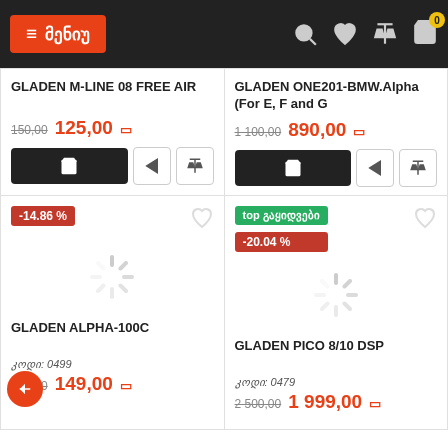≡ მენიუ
GLADEN M-LINE 08 FREE AIR
150,00  125,00
GLADEN ONE201-BMW.Alpha (For E, F and G
1 100,00  890,00
-14.86 %
[Figure (other): Loading spinner image placeholder]
GLADEN ALPHA-100C
კოდი: 0499
175,00  149,00
top გაყიდვები
-20.04 %
[Figure (other): Loading spinner image placeholder]
GLADEN PICO 8/10 DSP
კოდი: 0479
2 500,00  1 999,00